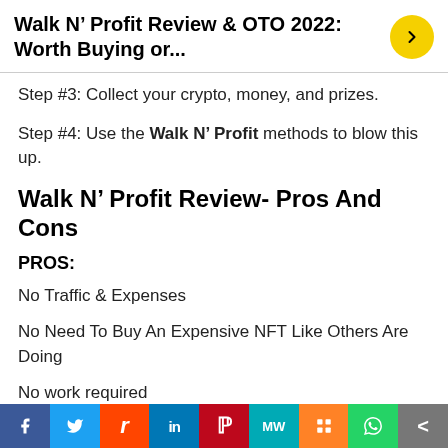Walk N' Profit Review & OTO 2022: Worth Buying or...
Step #3: Collect your crypto, money, and prizes.
Step #4: Use the Walk N' Profit methods to blow this up.
Walk N' Profit Review- Pros And Cons
PROS:
No Traffic & Expenses
No Need To Buy An Expensive NFT Like Others Are Doing
No work required